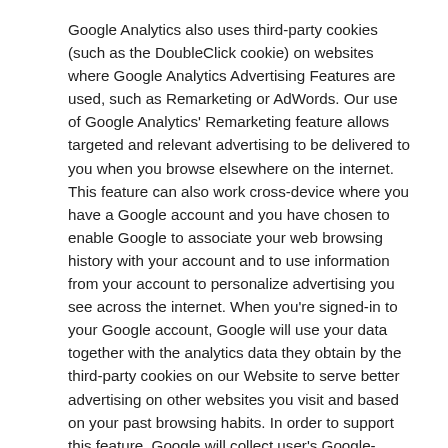Google Analytics also uses third-party cookies (such as the DoubleClick cookie) on websites where Google Analytics Advertising Features are used, such as Remarketing or AdWords. Our use of Google Analytics' Remarketing feature allows targeted and relevant advertising to be delivered to you when you browse elsewhere on the internet. This feature can also work cross-device where you have a Google account and you have chosen to enable Google to associate your web browsing history with your account and to use information from your account to personalize advertising you see across the internet. When you're signed-in to your Google account, Google will use your data together with the analytics data they obtain by the third-party cookies on our Website to serve better advertising on other websites you visit and based on your past browsing habits. In order to support this feature, Google will collect user's Google-authenticated identifiers.